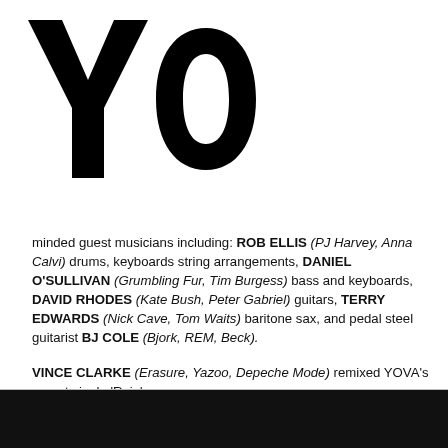YOVA
minded guest musicians including: ROB ELLIS (PJ Harvey, Anna Calvi) drums, keyboards string arrangements, DANIEL O'SULLIVAN (Grumbling Fur, Tim Burgess) bass and keyboards, DAVID RHODES (Kate Bush, Peter Gabriel) guitars, TERRY EDWARDS (Nick Cave, Tom Waits) baritone sax, and pedal steel guitarist BJ COLE (Bjork, REM, Beck).
VINCE CLARKE (Erasure, Yazoo, Depeche Mode) remixed YOVA's recent single 'Rain'.